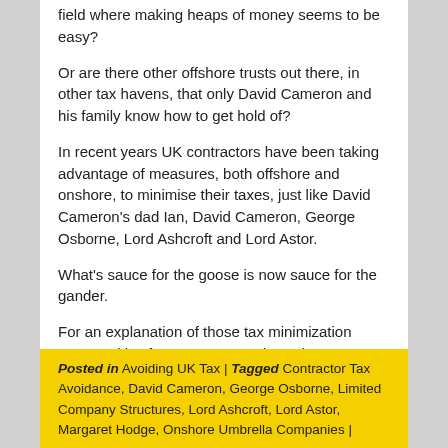field where making heaps of money seems to be easy?

Or are there other offshore trusts out there, in other tax havens, that only David Cameron and his family know how to get hold of?

In recent years UK contractors have been taking advantage of measures, both offshore and onshore, to minimise their taxes, just like David Cameron's dad Ian, David Cameron, George Osborne, Lord Ashcroft and Lord Astor.

What's sauce for the goose is now sauce for the gander.

For an explanation of those tax minimization opportunities for contractors, where they can keep up to 90% of their money, see Onshore and Offshore Umbrella Companies List.
Posted in Avoiding UK Tax | Tagged Contractor Tax Avoidance, David Cameron, George Osborne, Limited Company Structures, Lord Ashcroft, Lord Astor, Margaret Hodge, Onshore Umbrella Companies |